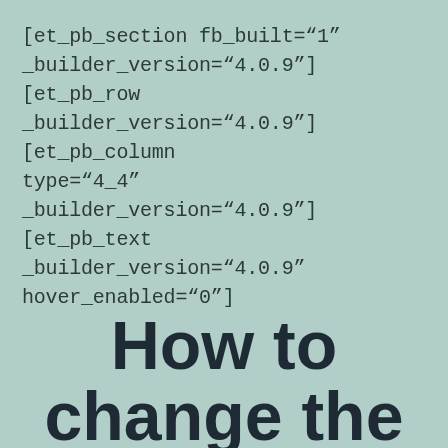[et_pb_section fb_built="1" _builder_version="4.0.9"][et_pb_row _builder_version="4.0.9"][et_pb_column type="4_4" _builder_version="4.0.9"][et_pb_text _builder_version="4.0.9" hover_enabled="0"]
How to change the default email